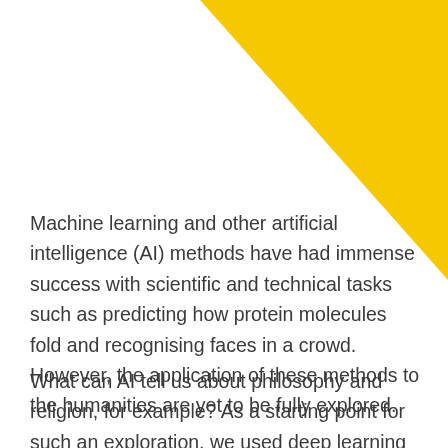[Figure (illustration): Yellow triangle decorative shape in the top-right corner of the page]
Machine learning and other artificial intelligence (AI) methods have had immense success with scientific and technical tasks such as predicting how protein molecules fold and recognising faces in a crowd. However, the application of these methods to the humanities are yet to be fully explored.
What can AI tell us about philosophy and religion, for example? As a starting point for such an exploration, we used deep learning AI methods to